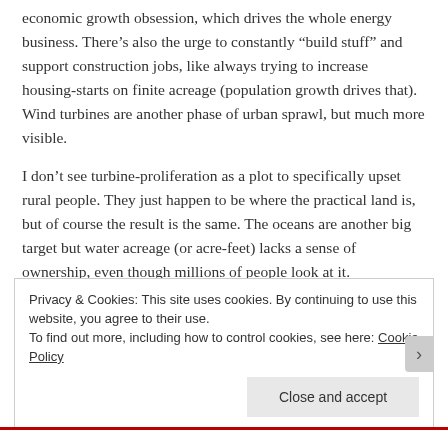economic growth obsession, which drives the whole energy business. There’s also the urge to constantly “build stuff” and support construction jobs, like always trying to increase housing-starts on finite acreage (population growth drives that). Wind turbines are another phase of urban sprawl, but much more visible.
I don’t see turbine-proliferation as a plot to specifically upset rural people. They just happen to be where the practical land is, but of course the result is the same. The oceans are another big target but water acreage (or acre-feet) lacks a sense of ownership, even though millions of people look at it.
Privacy & Cookies: This site uses cookies. By continuing to use this website, you agree to their use.
To find out more, including how to control cookies, see here: Cookie Policy
Close and accept